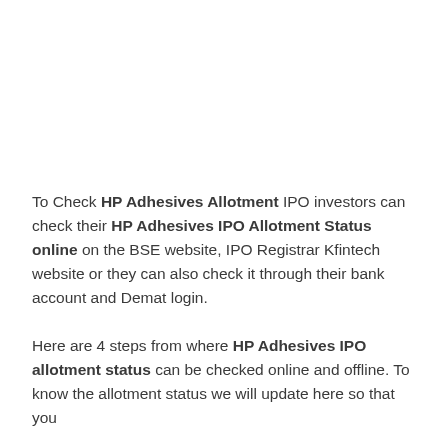To Check HP Adhesives Allotment IPO investors can check their HP Adhesives IPO Allotment Status online on the BSE website, IPO Registrar Kfintech website or they can also check it through their bank account and Demat login.
Here are 4 steps from where HP Adhesives IPO allotment status can be checked online and offline. To know the allotment status we will update here so that you